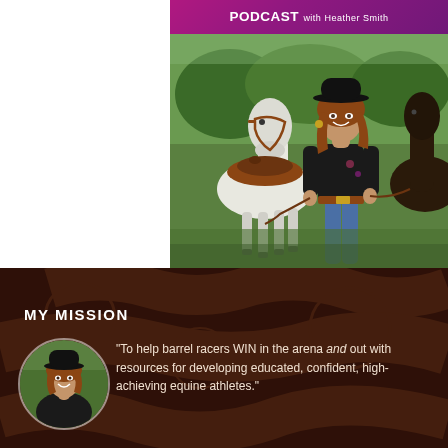[Figure (photo): Podcast cover image with purple banner reading PODCAST with Heather Smith, showing a woman in black hat and shirt walking with white and dark horses outdoors]
[Figure (photo): Dark brown textured background section for the mission area]
MY MISSION
[Figure (photo): Circular avatar photo of a smiling woman wearing a black cowboy hat]
“To help barrel racers WIN in the arena and out with resources for developing educated, confident, high-achieving equine athletes.”